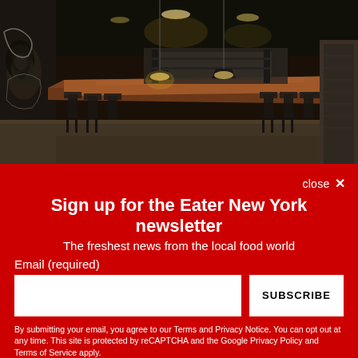[Figure (photo): Interior of a restaurant with a large rectangular counter/bar, dark ambiance, black chairs, pendant lighting, open kitchen in background, and artistic mural on the left wall.]
close ✕
Sign up for the Eater New York newsletter
The freshest news from the local food world
Email (required)
SUBSCRIBE
By submitting your email, you agree to our Terms and Privacy Notice. You can opt out at any time. This site is protected by reCAPTCHA and the Google Privacy Policy and Terms of Service apply.